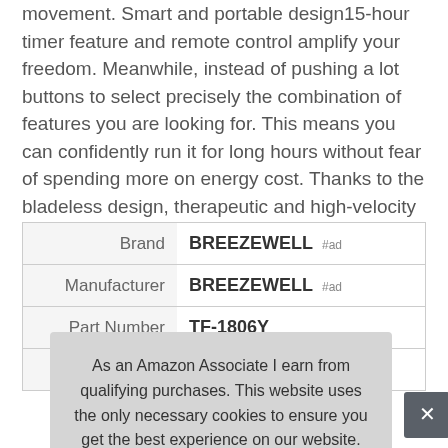movement. Smart and portable design15-hour timer feature and remote control amplify your freedom. Meanwhile, instead of pushing a lot buttons to select precisely the combination of features you are looking for. This means you can confidently run it for long hours without fear of spending more on energy cost. Thanks to the bladeless design, therapeutic and high-velocity air, for personal cooling.
|  |  |
| --- | --- |
| Brand | BREEZEWELL #ad |
| Manufacturer | BREEZEWELL #ad |
| Part Number | TF-1806Y |
| Model | TF-1806Y (partial) |
As an Amazon Associate I earn from qualifying purchases. This website uses the only necessary cookies to ensure you get the best experience on our website. More information